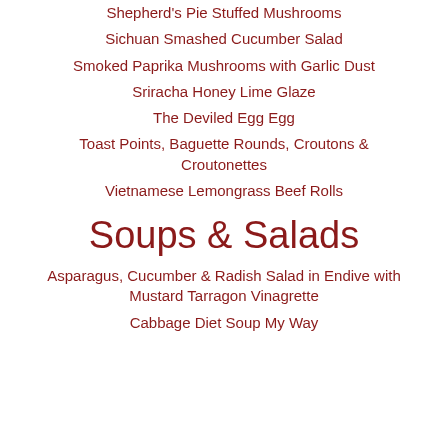Shepherd's Pie Stuffed Mushrooms
Sichuan Smashed Cucumber Salad
Smoked Paprika Mushrooms with Garlic Dust
Sriracha Honey Lime Glaze
The Deviled Egg Egg
Toast Points, Baguette Rounds, Croutons & Croutonettes
Vietnamese Lemongrass Beef Rolls
Soups & Salads
Asparagus, Cucumber & Radish Salad in Endive with Mustard Tarragon Vinagrette
Cabbage Diet Soup My Way